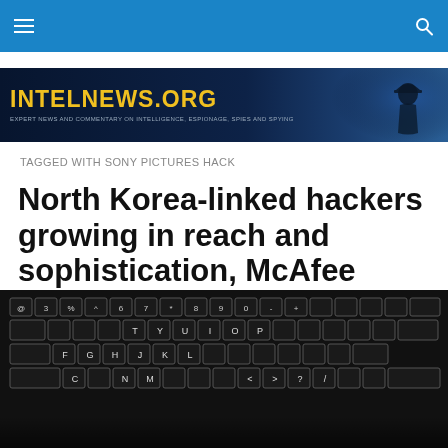[Figure (illustration): intelnews.org website banner with dark blue background, yellow bold title text 'INTELNEWS.ORG', subtitle 'EXPERT NEWS AND COMMENTARY ON INTELLIGENCE, ESPIONAGE, SPIES AND SPYING', and a shadowed figure silhouette on the right]
TAGGED WITH SONY PICTURES HACK
North Korea-linked hackers growing in reach and sophistication, McAfee warns
[Figure (photo): Close-up photo of a backlit dark keyboard with illuminated white keys on a black background]